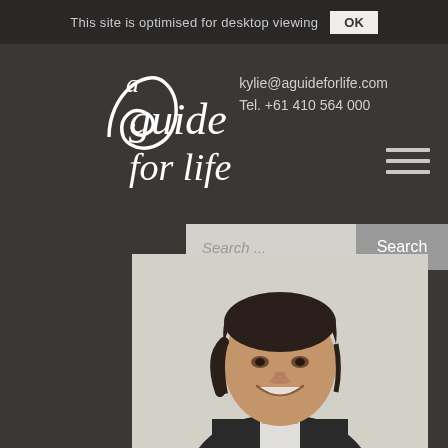This site is optimised for desktop viewing  OK
[Figure (logo): A Guide for Life logo — stylized cursive text with spiral/eye graphic]
kylie@aguideforlife.com
Tel. +61 410 564 000
[Figure (photo): Portrait photo of a smiling man with dark hair, wearing a dark suit and white shirt]
Search ...
Search